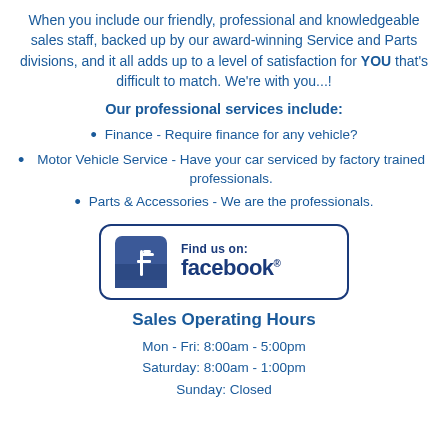When you include our friendly, professional and knowledgeable sales staff, backed up by our award-winning Service and Parts divisions, and it all adds up to a level of satisfaction for YOU that's difficult to match. We're with you...!
Our professional services include:
Finance - Require finance for any vehicle?
Motor Vehicle Service - Have your car serviced by factory trained professionals.
Parts & Accessories - We are the professionals.
[Figure (logo): Find us on: facebook. logo badge with Facebook 'f' icon in blue square and text 'Find us on: facebook.' inside a rounded rectangle border.]
Sales Operating Hours
Mon - Fri: 8:00am - 5:00pm
Saturday: 8:00am - 1:00pm
Sunday: Closed